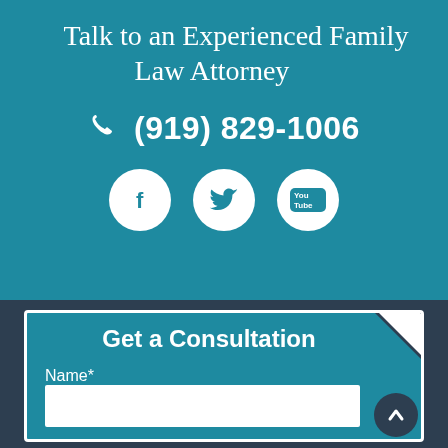Talk to an Experienced Family Law Attorney
(919) 829-1006
[Figure (infographic): Social media icons: Facebook, Twitter, YouTube in white circles on teal background]
Get a Consultation
Name*